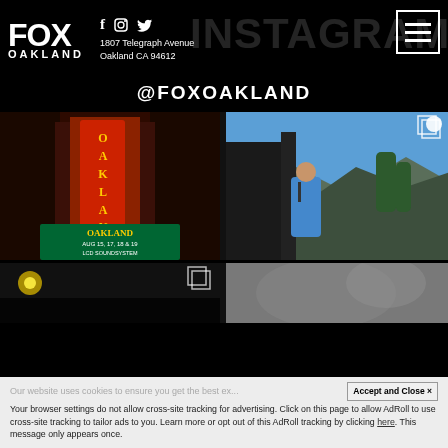FOX OAKLAND — 1807 Telegraph Avenue, Oakland CA 94612 — Instagram, Facebook, Twitter social icons — Menu button
@FOXOAKLAND
[Figure (photo): Fox Oakland theater marquee sign at night with red neon lights, showing OAKLAND in large letters and AUG 15, 17, 18 & 19 LCD SOUNDSYSTEM]
[Figure (photo): Female singer performing on an outdoor stage with mountains and blue sky in background]
[Figure (photo): Partial view of concert/event photo at night, dark with a light source visible]
[Figure (photo): Partial black and white or dark photo, partially cut off]
Our website uses cookies to ensure you get the best ex...
Your browser settings do not allow cross-site tracking for advertising. Click on this page to allow AdRoll to use cross-site tracking to tailor ads to you. Learn more or opt out of this AdRoll tracking by clicking here. This message only appears once.